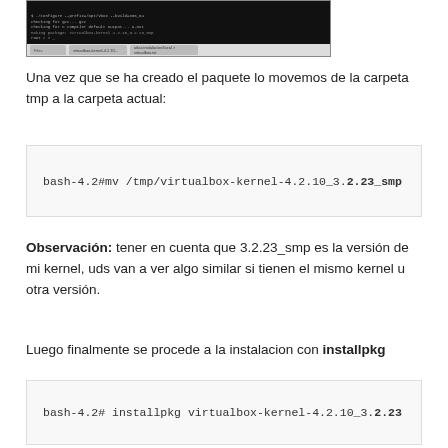[Figure (screenshot): Terminal/browser screenshot showing a black terminal window with command output and a browser toolbar at the bottom]
Una vez que se ha creado el paquete lo movemos de la carpeta tmp a la carpeta actual:
bash-4.2#mv /tmp/virtualbox-kernel-4.2.10_3.2.23_smp
Observación: tener en cuenta que 3.2.23_smp es la versión de mi kernel, uds van a ver algo similar si tienen el mismo kernel u otra versión.
Luego finalmente se procede a la instalacion con installpkg
bash-4.2# installpkg virtualbox-kernel-4.2.10_3.2.23